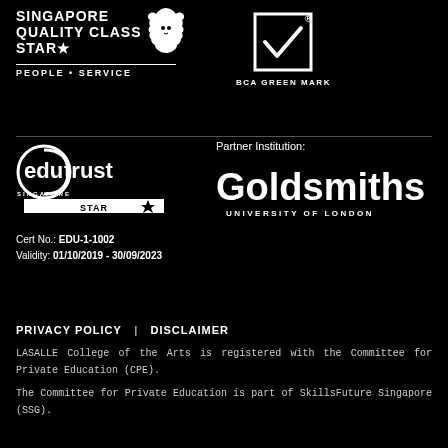[Figure (logo): Singapore Quality Class Star logo with lion icon and text PEOPLE • SERVICE]
[Figure (logo): BCA Green Mark logo with checkmark icon]
[Figure (logo): EduTrust Singapore Star certification logo]
Cert No.: EDU-1-1002
Validity: 01/10/2019 - 30/09/2023
Partner Institution:
[Figure (logo): Goldsmiths University of London logo]
PRIVACY POLICY  |  DISCLAIMER
LASALLE College of the Arts is registered with the Committee for Private Education (CPE).
The Committee for Private Education is part of SkillsFuture Singapore (SSG).